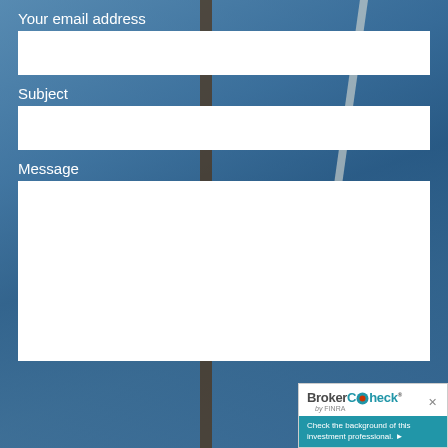Your email address
Subject
Message
[Figure (screenshot): BrokerCheck by FINRA widget in bottom-right corner with text 'Check the background of this investment professional.']